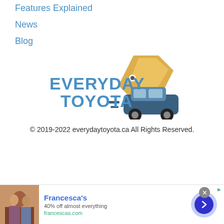Features Explained
News
Blog
[Figure (logo): Everyday Toyota logo with price tag icon and blue SUV icon]
© 2019-2022 everydaytoyota.ca All Rights Reserved.
[Figure (infographic): Advertisement banner for Francesca's: 40% off almost everything, francescas.com]